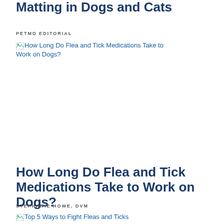Matting in Dogs and Cats
PETMD EDITORIAL
[Figure (screenshot): Broken image placeholder linking to 'How Long Do Flea and Tick Medications Take to Work on Dogs?']
How Long Do Flea and Tick Medications Take to Work on Dogs?
STEPHANIE HOWE, DVM
[Figure (screenshot): Broken image placeholder linking to 'Top 5 Ways to Fight Fleas and Ticks']